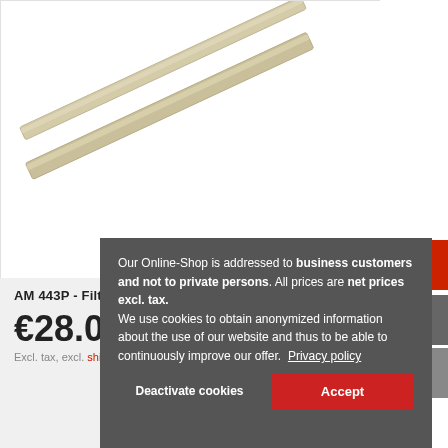[Figure (photo): Two long flat pale-colored filter mat strips lying diagonally on a white background]
AM 443P - FiltermatteP157450S
€28.00
Excl. tax, excl. shipping
Our Online-Shop is addressed to business customers and not to private persons. All prices are net prices excl. tax. We use cookies to obtain anonymized information about the use of our website and thus to be able to continuously improve our offer. Privacy policy
Deactivate cookies
Accept